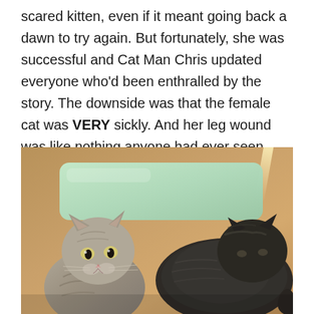scared kitten, even if it meant going back a dawn to try again. But fortunately, she was successful and Cat Man Chris updated everyone who'd been enthralled by the story. The downside was that the female cat was VERY sickly. And her leg wound was like nothing anyone had ever seen.
[Figure (photo): A photo of two cats resting in what appears to be a carrier or kennel. On the left is a smaller gray tabby kitten looking at the camera. On the right is a larger dark-furred cat curled up on a light green pillow/pad. The background is a warm tan/brown color with a light streak in the upper right corner.]